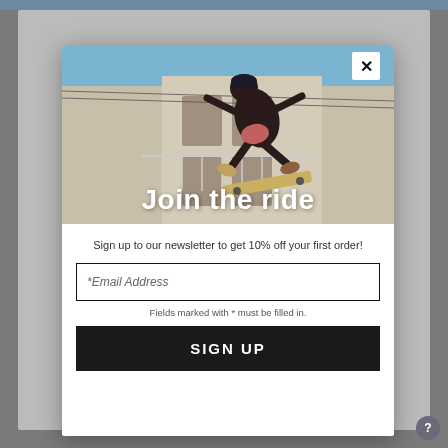[Figure (screenshot): Website screenshot showing a modal popup overlay on a gray background. The modal contains a skateboarding photo at the top with 'Join the ride' text overlay, followed by a newsletter signup form with an email input field and SIGN UP button.]
Join the ride
Sign up to our newsletter to get 10% off your first order!
*Email Address
Fields marked with * must be filled in.
SIGN UP